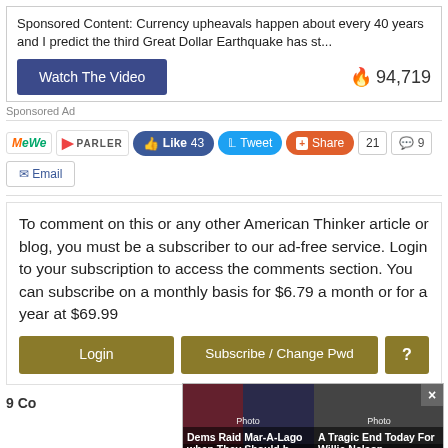Sponsored Content: Currency upheavals happen about every 40 years and I predict the third Great Dollar Earthquake has st...
[Figure (other): Watch The Video button with fire icon and count 94,719]
Sponsored Ad
[Figure (other): Social sharing bar with MeWe, Parler, Like 43, Tweet, Share, 21, comment icon 9, Email buttons]
To comment on this or any other American Thinker article or blog, you must be a subscriber to our ad-free service. Login to your subscription to access the comments section. You can subscribe on a monthly basis for $6.79 a month or for a year at $69.99
[Figure (other): Login, Subscribe / Change Pwd, and help ? buttons]
9 Co...
[Figure (other): Popup overlay with two news thumbnails: 'Dems Raid Mar-A-Lago when They Should b... (Infected)' and 'A Tragic End Today For Willie Nelson (Breaking News)' with X close button]